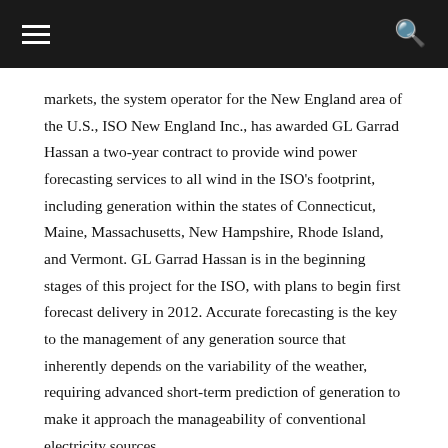[Navigation header with hamburger menu and search icon]
markets, the system operator for the New England area of the U.S., ISO New England Inc., has awarded GL Garrad Hassan a two-year contract to provide wind power forecasting services to all wind in the ISO's footprint, including generation within the states of Connecticut, Maine, Massachusetts, New Hampshire, Rhode Island, and Vermont. GL Garrad Hassan is in the beginning stages of this project for the ISO, with plans to begin first forecast delivery in 2012. Accurate forecasting is the key to the management of any generation source that inherently depends on the variability of the weather, requiring advanced short-term prediction of generation to make it approach the manageability of conventional electricity sources.
GL Garrad Hassan has carried out pre-construction energy assessments on many operational and soon to be operational wind